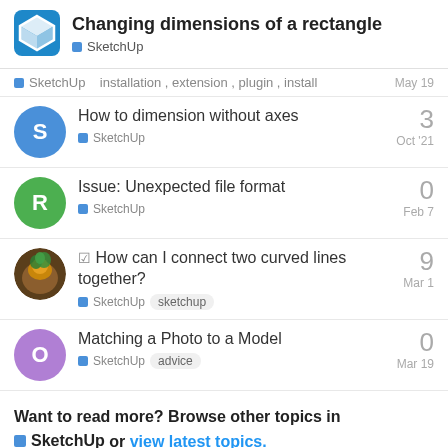Changing dimensions of a rectangle — SketchUp
SketchUp   installation, extension, plugin, install   May 19
How to dimension without axes — SketchUp — Oct '21 — 3 replies
Issue: Unexpected file format — SketchUp — Feb 7 — 0 replies
How can I connect two curved lines together? — SketchUp, sketchup — Mar 1 — 9 replies
Matching a Photo to a Model — SketchUp, advice — Mar 19 — 0 replies
Want to read more? Browse other topics in SketchUp or view latest topics.